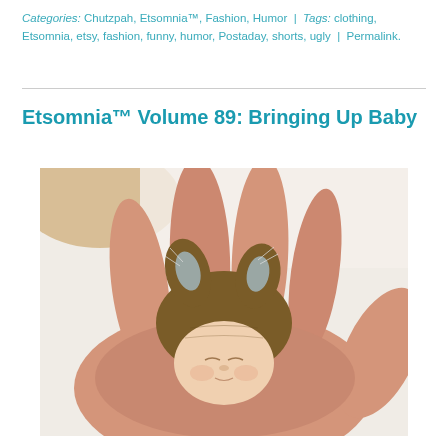Categories: Chutzpah, Etsomnia™, Fashion, Humor | Tags: clothing, Etsomnia, etsy, fashion, funny, humor, Postaday, shorts, ugly | Permalink.
[Figure (photo): A small sculptured baby doll face with a brown bunny hat, held in a person's hand.]
Etsomnia™ Volume 89: Bringing Up Baby